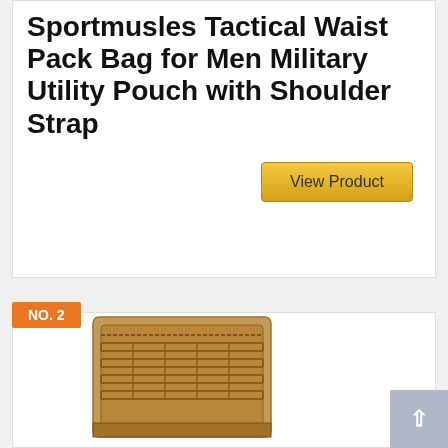Sportmusles Tactical Waist Pack Bag for Men Military Utility Pouch with Shoulder Strap
View Product
NO. 2
[Figure (photo): Tan/coyote brown tactical utility pouch/waist pack bag, rectangular shape with MOLLE webbing on front]